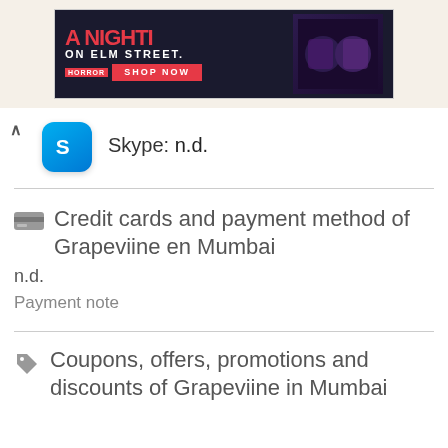[Figure (screenshot): Advertisement banner for A Nightmare on Elm Street with Shop Now button and dark background with horror movie imagery]
Skype: n.d.
Credit cards and payment method of Grapeviine en Mumbai
n.d.
Payment note
Coupons, offers, promotions and discounts of Grapeviine in Mumbai